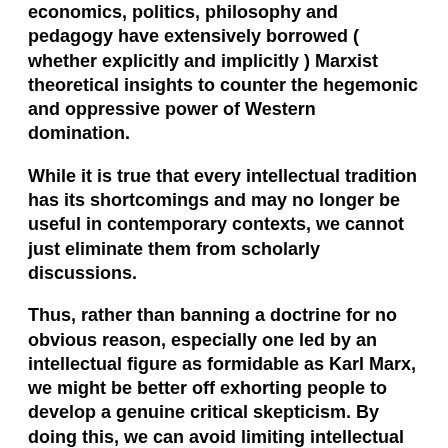economics, politics, philosophy and pedagogy have extensively borrowed ( whether explicitly and implicitly ) Marxist theoretical insights to counter the hegemonic and oppressive power of Western domination.
While it is true that every intellectual tradition has its shortcomings and may no longer be useful in contemporary contexts, we cannot just eliminate them from scholarly discussions.
Thus, rather than banning a doctrine for no obvious reason, especially one led by an intellectual figure as formidable as Karl Marx, we might be better off exhorting people to develop a genuine critical skepticism. By doing this, we can avoid limiting intellectual freedom and propagating anti-intellectualism.
*** The Jakarta Post/Budhi Button) The writer is an associate professor at the Atma Jaya University, Jakarta.